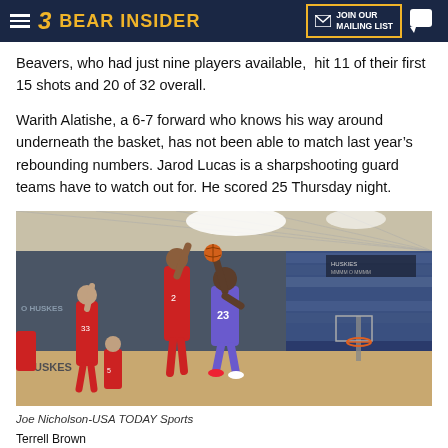BEAR INSIDER | JOIN OUR MAILING LIST
Beavers, who had just nine players available, hit 11 of their first 15 shots and 20 of 32 overall.
Warith Alatishe, a 6-7 forward who knows his way around underneath the basket, has not been able to match last year's rebounding numbers. Jarod Lucas is a sharpshooting guard teams have to watch out for. He scored 25 Thursday night.
[Figure (photo): Basketball game action photo showing player #23 in white/purple uniform driving to the basket against defenders in red uniforms, indoor arena setting]
Joe Nicholson-USA TODAY Sports
Terrell Brown